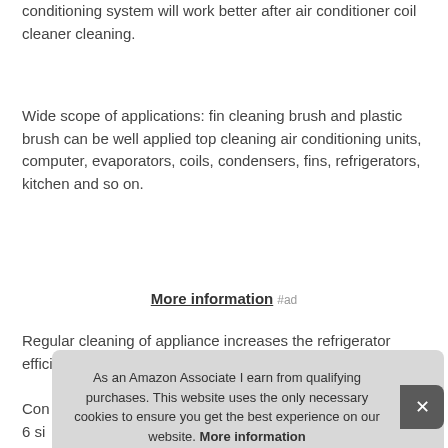conditioning system will work better after air conditioner coil cleaner cleaning.
Wide scope of applications: fin cleaning brush and plastic brush can be well applied top cleaning air conditioning units, computer, evaporators, coils, condensers, fins, refrigerators, kitchen and so on.
More information #ad
Regular cleaning of appliance increases the refrigerator efficiency and lowers operating costs.
Con... 6 si... of h... 15 f... Effe...
As an Amazon Associate I earn from qualifying purchases. This website uses the only necessary cookies to ensure you get the best experience on our website. More information